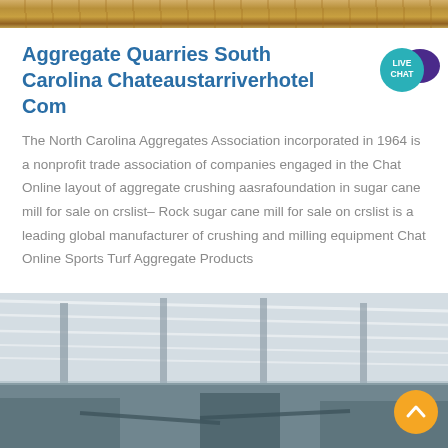[Figure (photo): Top portion of a quarry or aggregate site photo, showing sandy/rocky terrain in warm brown tones]
Aggregate Quarries South Carolina Chateaustarriverhotel Com
[Figure (infographic): Live Chat badge — teal circular button with 'LIVE CHAT' text and a speech bubble icon in dark purple]
The North Carolina Aggregates Association incorporated in 1964 is a nonprofit trade association of companies engaged in the Chat Online layout of aggregate crushing aasrafoundation in sugar cane mill for sale on crslist– Rock sugar cane mill for sale on crslist is a leading global manufacturer of crushing and milling equipment Chat Online Sports Turf Aggregate Products
[Figure (photo): Interior of a large industrial warehouse or factory with steel roof structure, columns, and fluorescent lighting. Heavy machinery visible in the lower portion.]